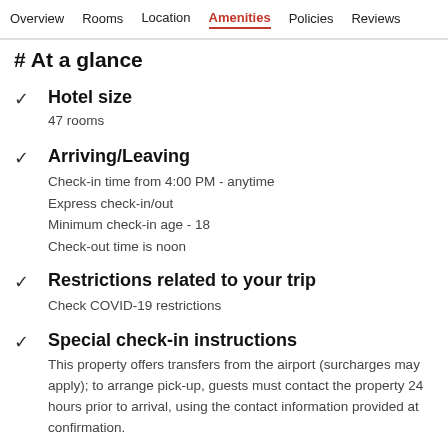Overview  Rooms  Location  Amenities  Policies  Reviews
At a glance
Hotel size
47 rooms
Arriving/Leaving
Check-in time from 4:00 PM - anytime
Express check-in/out
Minimum check-in age - 18
Check-out time is noon
Restrictions related to your trip
Check COVID-19 restrictions
Special check-in instructions
This property offers transfers from the airport (surcharges may apply); to arrange pick-up, guests must contact the property 24 hours prior to arrival, using the contact information provided at confirmation.